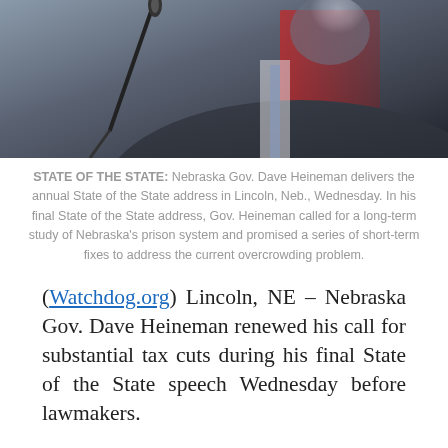[Figure (photo): Cropped photo showing a man in a dark suit near a microphone, with a blurred background of red and other colors, suggesting a formal speaking setting.]
STATE OF THE STATE: Nebraska Gov. Dave Heineman delivers the annual State of the State address in Lincoln, Neb., Wednesday. In his final State of the State address, Gov. Heineman called for a long-term study of Nebraska's prison system and promised a series of short-term fixes to address the current overcrowding problem.
(Watchdog.org) Lincoln, NE – Nebraska Gov. Dave Heineman renewed his call for substantial tax cuts during his final State of the State speech Wednesday before lawmakers.
As he announced Tuesday night, the governor believes the state can afford $370 million to $500...